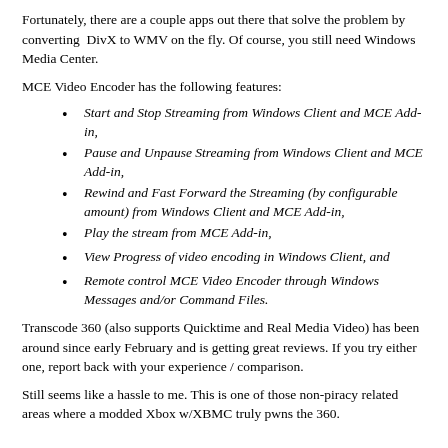Fortunately, there are a couple apps out there that solve the problem by converting DivX to WMV on the fly. Of course, you still need Windows Media Center.
MCE Video Encoder has the following features:
Start and Stop Streaming from Windows Client and MCE Add-in,
Pause and Unpause Streaming from Windows Client and MCE Add-in,
Rewind and Fast Forward the Streaming (by configurable amount) from Windows Client and MCE Add-in,
Play the stream from MCE Add-in,
View Progress of video encoding in Windows Client, and
Remote control MCE Video Encoder through Windows Messages and/or Command Files.
Transcode 360 (also supports Quicktime and Real Media Video) has been around since early February and is getting great reviews. If you try either one, report back with your experience / comparison.
Still seems like a hassle to me. This is one of those non-piracy related areas where a modded Xbox w/XBMC truly pwns the 360.